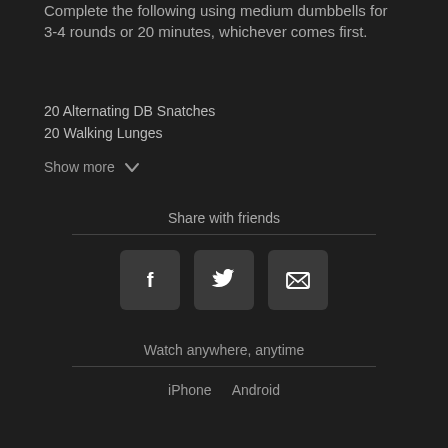Complete the following using medium dumbbells for 3-4 rounds or 20 minutes, whichever comes first.
20 Alternating DB Snatches
20 Walking Lunges
Show more
Share with friends
[Figure (other): Facebook, Twitter, and Email share buttons]
Watch anywhere, anytime
iPhone   Android